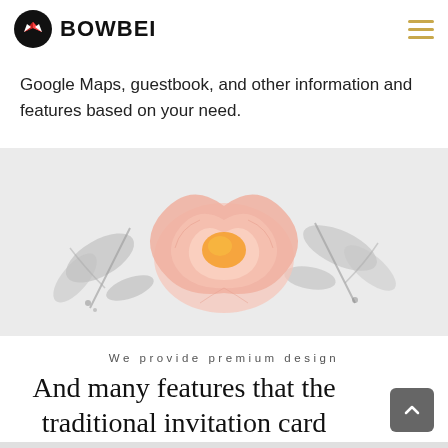BOWBEI
Google Maps, guestbook, and other information and features based on your need.
[Figure (illustration): Watercolor floral illustration showing a large pink peony with an orange center, surrounded by grey-toned leaves and botanical elements on a light grey background.]
We provide premium design
And many features that the traditional invitation card can't do